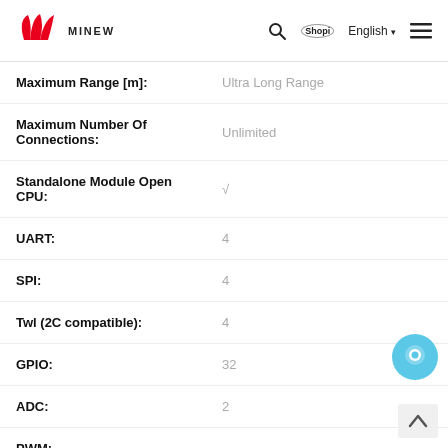Minew - Maximum Range [m]: Ultra Long Range, Maximum Number Of Connections: Unlimited, Standalone Module Open CPU: ✓, UART: 4, SPI: 4, Twl (2C compatible): 4, GPIO: 32, ADC: 2, PWM: 4
| Property | Value |
| --- | --- |
| Maximum Range [m]: | Ultra Long Range |
| Maximum Number Of Connections: | Unlimited |
| Standalone Module Open CPU: | √ |
| UART: | 4 |
| SPI: | 4 |
| Twl (2C compatible): | 4 |
| GPIO: | 32 |
| ADC: | 2 |
| PWM: | 4 |